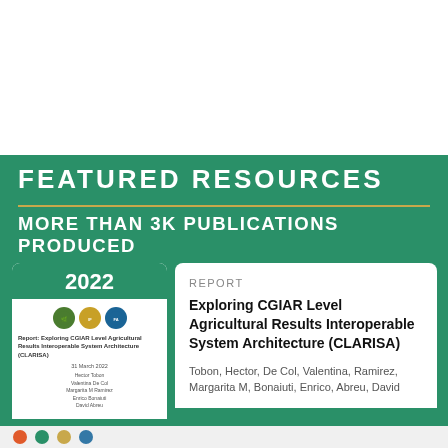FEATURED RESOURCES
MORE THAN 3K PUBLICATIONS PRODUCED
2022
[Figure (illustration): Thumbnail of a CGIAR report document showing logos and title text]
REPORT
Exploring CGIAR Level Agricultural Results Interoperable System Architecture (CLARISA)
Tobon, Hector, De Col, Valentina, Ramirez, Margarita M, Bonaiuti, Enrico, Abreu, David